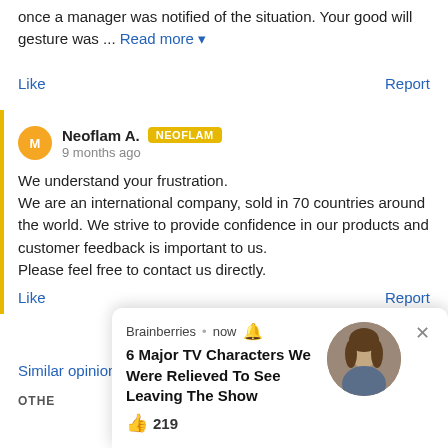once a manager was notified of the situation. Your good will gesture was ... Read more
Like    Report
Neoflam A. [NEOFLAM] 9 months ago
We understand your frustration.
We are an international company, sold in 70 countries around the world. We strive to provide confidence in our products and customer feedback is important to us.
Please feel free to contact us directly.
Like    Report
Similar opinion? Write a review on testwords.com and...
OTHER
[Figure (screenshot): Brainberries notification popup: '6 Major TV Characters We Were Relieved To See Leaving The Show' with 219 likes and a circular photo of a woman with brown hair, with a close (X) button]